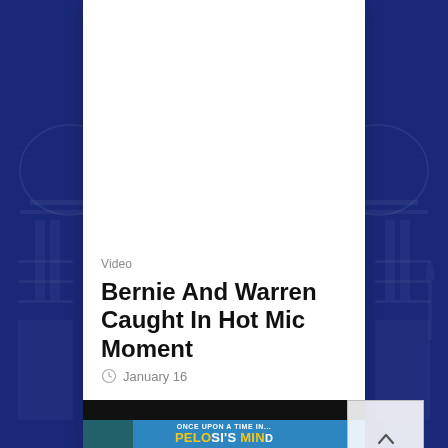[Figure (screenshot): Dark navy blue background showing the US Capitol building on both sides, with a white content card in the center]
Video
Bernie And Warren Caught In Hot Mic Moment
January 16
[Figure (screenshot): Video thumbnail showing a blue movie poster reading 'ONCE UPON A TIME IN... PELOSI'S MIND' with trees and buildings in the background]